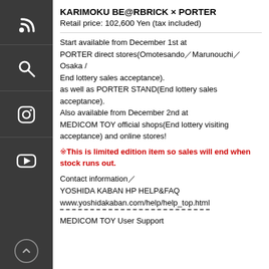KARIMOKU BE@RBRICK × PORTER
Retail price: 102,600 Yen (tax included)
Start available from December 1st at PORTER direct stores(Omotesando／Marunouchi／Osaka / End lottery sales acceptance). as well as PORTER STAND(End lottery sales acceptance). Also available from December 2nd at MEDICOM TOY official shops(End lottery visiting acceptance) and online stores!
※This is limited edition item so sales will end when stock runs out.
Contact information／
YOSHIDA KABAN HP HELP&FAQ
www.yoshidakaban.com/help/help_top.html
MEDICOM TOY User Support